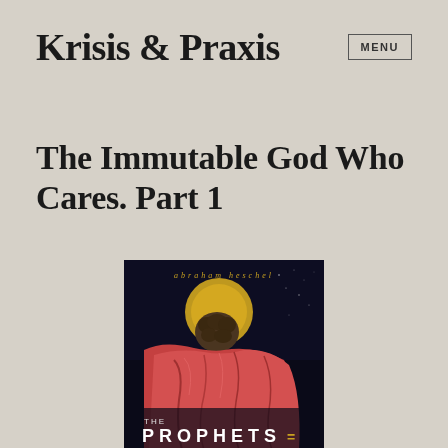Krisis & Praxis
The Immutable God Who Cares. Part 1
[Figure (photo): Book cover of 'The Prophets' by Abraham Heschel, showing a painting of a robed figure with a halo bowing their head, wearing a red/pink robe against a dark background. The text 'abraham heschel' appears at the top and 'THE PROPHETS' at the bottom.]